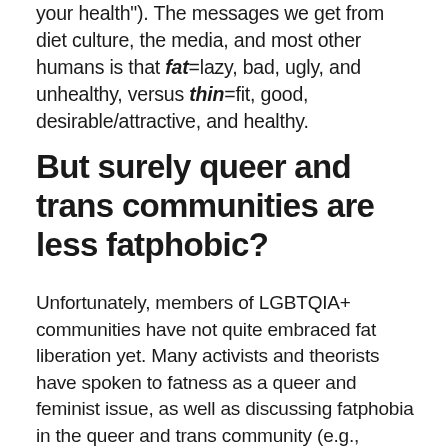your health"). The messages we get from diet culture, the media, and most other humans is that fat=lazy, bad, ugly, and unhealthy, versus thin=fit, good, desirable/attractive, and healthy.
But surely queer and trans communities are less fatphobic?
Unfortunately, members of LGBTQIA+ communities have not quite embraced fat liberation yet. Many activists and theorists have spoken to fatness as a queer and feminist issue, as well as discussing fatphobia in the queer and trans community (e.g., Mollow, 2013). For example, consider trans and nonbinary folx who feel